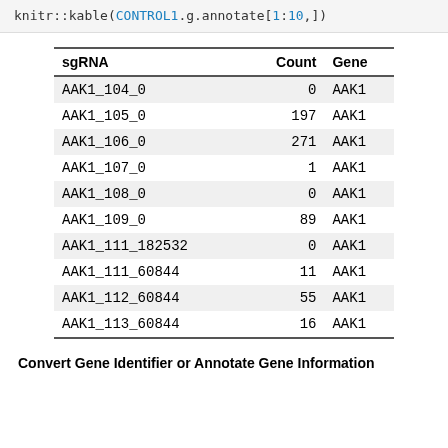knitr::kable(CONTROL1.g.annotate[1:10,])
| sgRNA | Count | Gene |
| --- | --- | --- |
| AAK1_104_0 | 0 | AAK1 |
| AAK1_105_0 | 197 | AAK1 |
| AAK1_106_0 | 271 | AAK1 |
| AAK1_107_0 | 1 | AAK1 |
| AAK1_108_0 | 0 | AAK1 |
| AAK1_109_0 | 89 | AAK1 |
| AAK1_111_182532 | 0 | AAK1 |
| AAK1_111_60844 | 11 | AAK1 |
| AAK1_112_60844 | 55 | AAK1 |
| AAK1_113_60844 | 16 | AAK1 |
Convert Gene Identifier or Annotate Gene Information